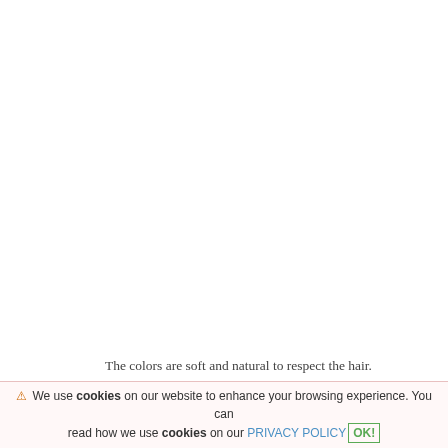The colors are soft and natural to respect the hair.
[Figure (illustration): Light blue heart icon with pink circular border]
Trendy hair color for fall/winter 2021/2022
⚠ We use cookies on our website to enhance your browsing experience. You can read how we use cookies on our PRIVACY POLICY OK!